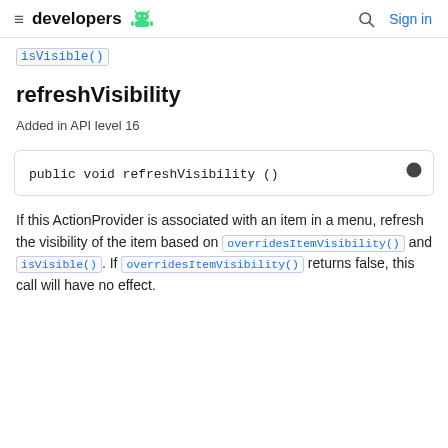developers [android logo] | Sign in
isVisible()
refreshVisibility
Added in API level 16
public void refreshVisibility ()
If this ActionProvider is associated with an item in a menu, refresh the visibility of the item based on overridesItemVisibility() and isVisible(). If overridesItemVisibility() returns false, this call will have no effect.